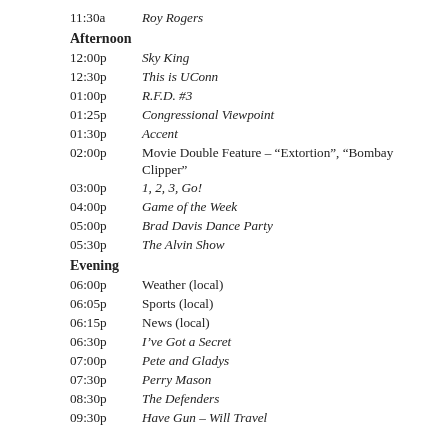11:30a  Roy Rogers
Afternoon
12:00p  Sky King
12:30p  This is UConn
01:00p  R.F.D. #3
01:25p  Congressional Viewpoint
01:30p  Accent
02:00p  Movie Double Feature – “Extortion”, “Bombay Clipper”
03:00p  1, 2, 3, Go!
04:00p  Game of the Week
05:00p  Brad Davis Dance Party
05:30p  The Alvin Show
Evening
06:00p  Weather (local)
06:05p  Sports (local)
06:15p  News (local)
06:30p  I’ve Got a Secret
07:00p  Pete and Gladys
07:30p  Perry Mason
08:30p  The Defenders
09:30p  Have Gun – Will Travel